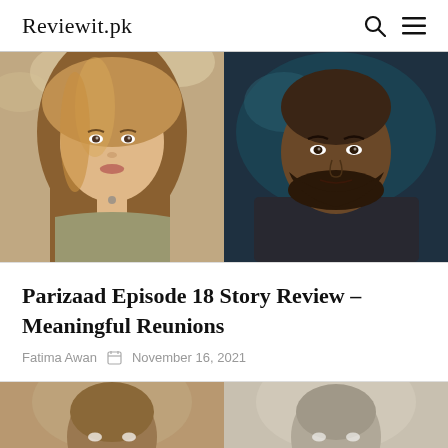Reviewit.pk
[Figure (photo): Two photos side by side: left shows a woman with long blonde hair wearing a grey outfit, right shows a bearded man in a dark suit]
Parizaad Episode 18 Story Review – Meaningful Reunions
Fatima Awan  November 16, 2021
[Figure (photo): Bottom strip showing two more photos side by side, partially visible]